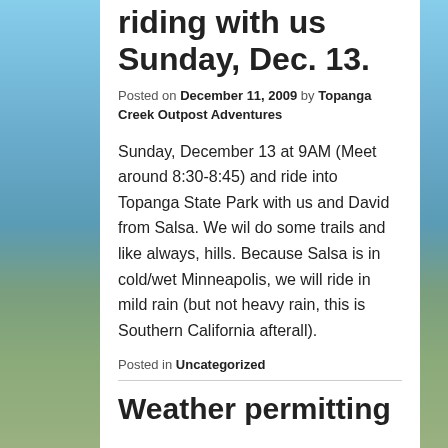David from Salsa riding with us Sunday, Dec. 13.
Posted on December 11, 2009 by Topanga Creek Outpost Adventures
Sunday, December 13 at 9AM (Meet around 8:30-8:45) and ride into Topanga State Park with us and David from Salsa. We wil do some trails and like always, hills. Because Salsa is in cold/wet Minneapolis, we will ride in mild rain (but not heavy rain, this is Southern California afterall).
Posted in Uncategorized
Weather permitting